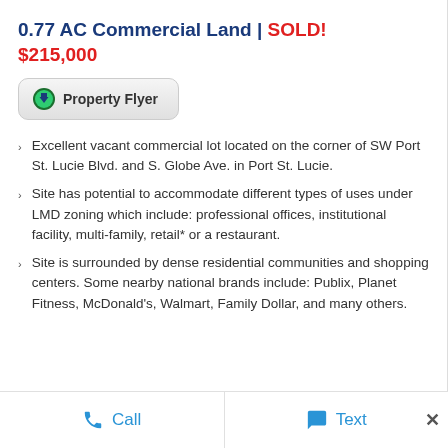0.77 AC Commercial Land | SOLD! $215,000
[Figure (other): Property Flyer button with green download icon]
Excellent vacant commercial lot located on the corner of SW Port St. Lucie Blvd. and S. Globe Ave. in Port St. Lucie.
Site has potential to accommodate different types of uses under LMD zoning which include: professional offices, institutional facility, multi-family, retail* or a restaurant.
Site is surrounded by dense residential communities and shopping centers. Some nearby national brands include: Publix, Planet Fitness, McDonald's, Walmart, Family Dollar, and many others.
Call   Text